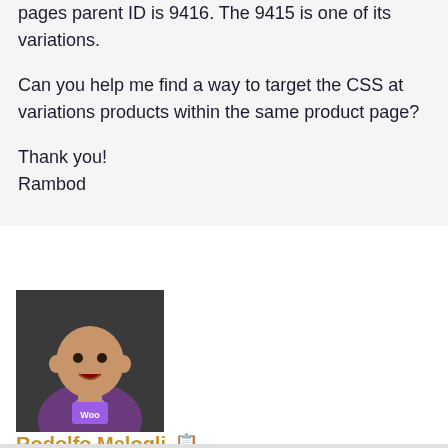pages parent ID is 9416. The 9415 is one of its variations.

Can you help me find a way to target the CSS at variations products within the same product page?

Thank you!
Rambod
[Figure (photo): Profile photo of Rodolfo Melogli, a bald man wearing a purple shirt with a WooCommerce lanyard badge]
Rodolfo Melogli 📋
March 29, 2016